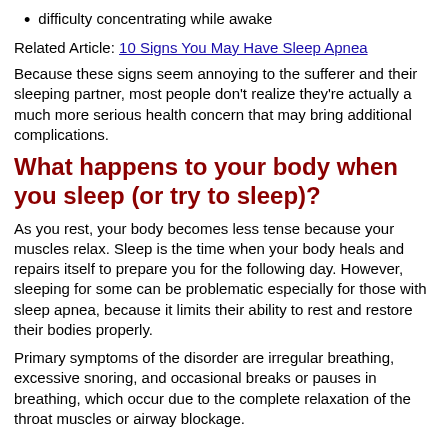difficulty concentrating while awake
Related Article: 10 Signs You May Have Sleep Apnea
Because these signs seem annoying to the sufferer and their sleeping partner, most people don't realize they're actually a much more serious health concern that may bring additional complications.
What happens to your body when you sleep (or try to sleep)?
As you rest, your body becomes less tense because your muscles relax. Sleep is the time when your body heals and repairs itself to prepare you for the following day. However, sleeping for some can be problematic especially for those with sleep apnea, because it limits their ability to rest and restore their bodies properly.
Primary symptoms of the disorder are irregular breathing, excessive snoring, and occasional breaks or pauses in breathing, which occur due to the complete relaxation of the throat muscles or airway blockage.